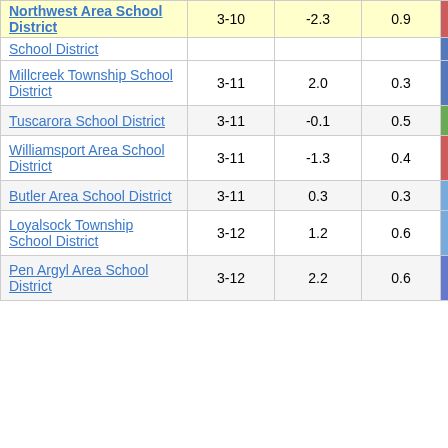| District | Grades | Col3 | Col4 | Score |
| --- | --- | --- | --- | --- |
| Northwest Area School District | 3-10 | -2.3 | 0.9 | -2.59 |
| School District |  |  |  |  |
| Millcreek Township School District | 3-11 | 2.0 | 0.3 | 6.27 |
| Tuscarora School District | 3-11 | -0.1 | 0.5 | -0.13 |
| Williamsport Area School District | 3-11 | -1.3 | 0.4 | -3.63 |
| Butler Area School District | 3-11 | 0.3 | 0.3 | 1.07 |
| Loyalsock Township School District | 3-12 | 1.2 | 0.6 | 1.96 |
| Pen Argyl Area School District | 3-12 | 2.2 | 0.6 | 3.36 |